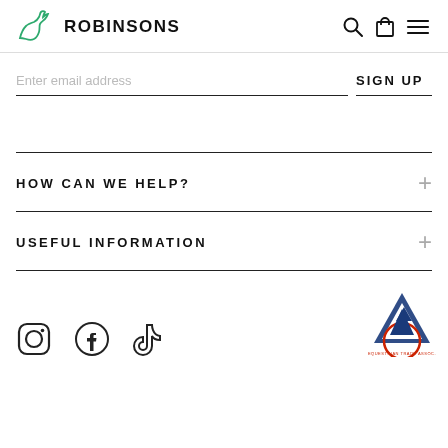ROBINSONS
Enter email address
SIGN UP
HOW CAN WE HELP?
USEFUL INFORMATION
[Figure (logo): Social media icons: Instagram, Facebook, TikTok and British Equestrian Trade Association logo (blue triangle with red circular text)]